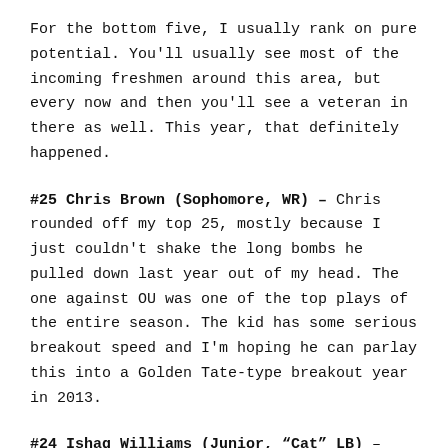For the bottom five, I usually rank on pure potential. You'll usually see most of the incoming freshmen around this area, but every now and then you'll see a veteran in there as well. This year, that definitely happened.
#25 Chris Brown (Sophomore, WR) – Chris rounded off my top 25, mostly because I just couldn't shake the long bombs he pulled down last year out of my head. The one against OU was one of the top plays of the entire season. The kid has some serious breakout speed and I'm hoping he can parlay this into a Golden Tate-type breakout year in 2013.
#24 Ishaq Williams (Junior, "Cat" LB) – Ishaq is one of those guys that we have also seen flashes of